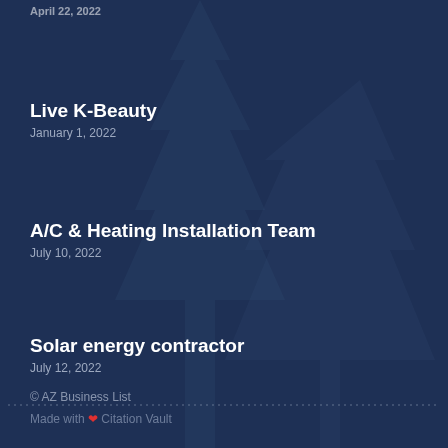April 22, 2022
Live K-Beauty
January 1, 2022
A/C & Heating Installation Team
July 10, 2022
Solar energy contractor
July 12, 2022
© AZ Business List
Made with ❤ Citation Vault